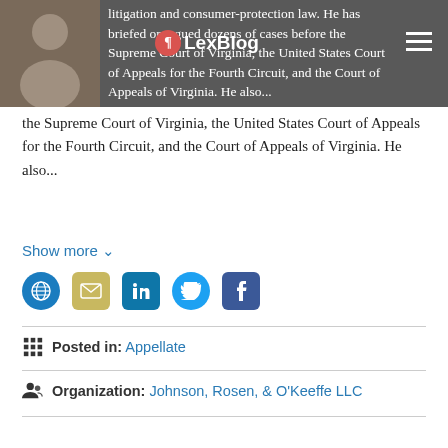litigation and consumer-protection law. He has briefed or argued dozens of cases before the Supreme Court of Virginia, the United States Court of Appeals for the Fourth Circuit, and the Court of Appeals of Virginia. He also...
Show more
[Figure (infographic): Social media icons row: globe/website, email, LinkedIn, Twitter, Facebook]
Posted in: Appellate
Organization: Johnson, Rosen, & O'Keeffe LLC